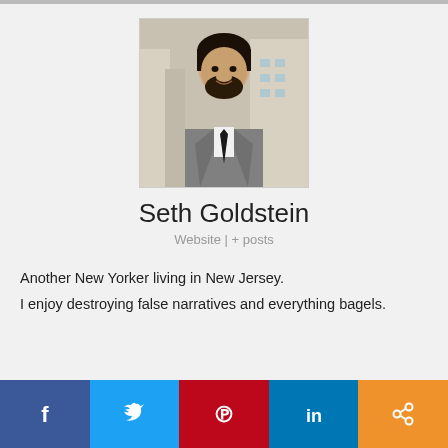[Figure (photo): Profile photo of Seth Goldstein, a man with dark hair and beard wearing a suit, posed in front of a city background]
Seth Goldstein
Website | + posts
Another New Yorker living in New Jersey.
I enjoy destroying false narratives and everything bagels.
NYNJ...
[Figure (infographic): Social share bar with Facebook, Twitter, Pinterest, LinkedIn, and share buttons]